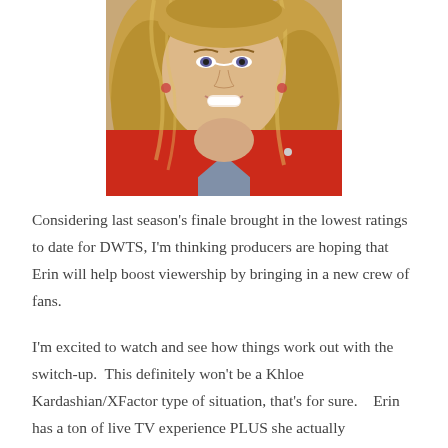[Figure (photo): A woman with long wavy blonde hair smiling, wearing a red jacket over a gray top.]
Considering last season's finale brought in the lowest ratings to date for DWTS, I'm thinking producers are hoping that Erin will help boost viewership by bringing in a new crew of fans.
I'm excited to watch and see how things work out with the switch-up.  This definitely won't be a Khloe Kardashian/XFactor type of situation, that's for sure.   Erin has a ton of live TV experience PLUS she actually